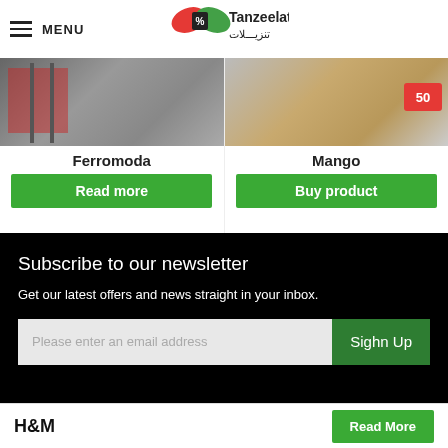MENU | Tanzeelatt تنزيـــلات
[Figure (photo): Ferromoda product image - store interior]
Ferromoda
Read more
[Figure (photo): Mango product image - clothing display with 50% tag]
Mango
Buy product
Subscribe to our newsletter
Get our latest offers and news straight in your inbox.
Please enter an email address
Sighn Up
H&M
Read More